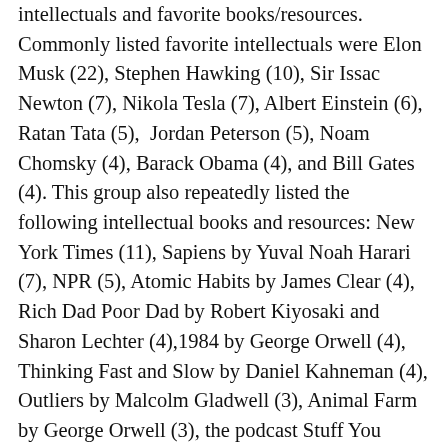intellectuals and favorite books/resources. Commonly listed favorite intellectuals were Elon Musk (22), Stephen Hawking (10), Sir Issac Newton (7), Nikola Tesla (7), Albert Einstein (6), Ratan Tata (5), Jordan Peterson (5), Noam Chomsky (4), Barack Obama (4), and Bill Gates (4). This group also repeatedly listed the following intellectual books and resources: New York Times (11), Sapiens by Yuval Noah Harari (7), NPR (5), Atomic Habits by James Clear (4), Rich Dad Poor Dad by Robert Kiyosaki and Sharon Lechter (4),1984 by George Orwell (4), Thinking Fast and Slow by Daniel Kahneman (4), Outliers by Malcolm Gladwell (3), Animal Farm by George Orwell (3), the podcast Stuff You Should Know (3), The Alchemist by Paulo Coelho (3), Lex Fridman Podcast (3), and Republic by Plato (3).
...